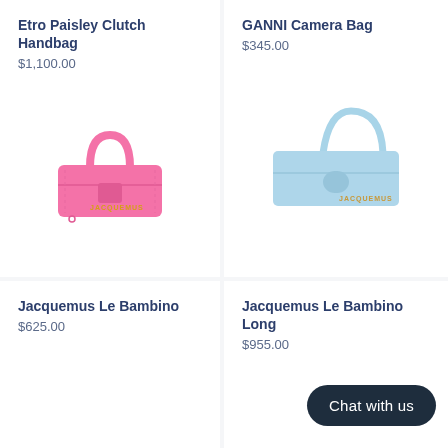Etro Paisley Clutch Handbag
$1,100.00
[Figure (photo): Pink Jacquemus Le Bambino handbag with top handle and gold logo lettering]
GANNI Camera Bag
$345.00
[Figure (photo): Light blue Jacquemus Le Bambino Long flat shoulder bag with loop handle and gold logo lettering]
Jacquemus Le Bambino
$625.00
Jacquemus Le Bambino Long
$955.00
Chat with us